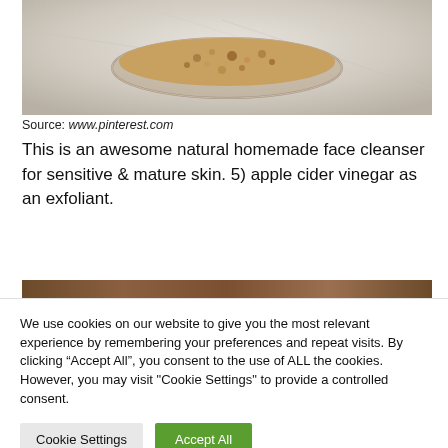[Figure (photo): Top-down view of a glass jar with brown granular contents (likely sugar or exfoliant) on a white marble surface, partially cropped at top]
Source: www.pinterest.com
This is an awesome natural homemade face cleanser for sensitive & mature skin. 5) apple cider vinegar as an exfoliant.
[Figure (photo): Partial view of another image, showing a brown/amber colored bar at the top edge]
We use cookies on our website to give you the most relevant experience by remembering your preferences and repeat visits. By clicking “Accept All”, you consent to the use of ALL the cookies. However, you may visit "Cookie Settings" to provide a controlled consent.